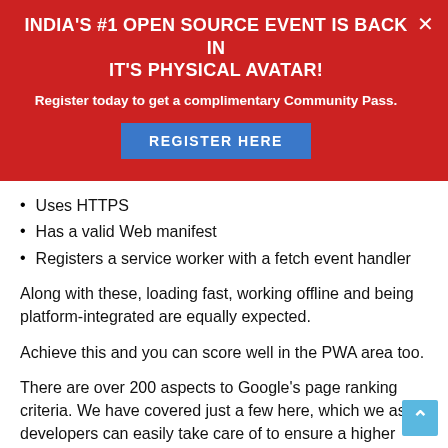INDIA'S #1 OPEN SOURCE EVENT IS BACK IN IT'S PHYSICAL AVATAR!
Register today to get a complimentary Community Pass.
REGISTER HERE
Uses HTTPS
Has a valid Web manifest
Registers a service worker with a fetch event handler
Along with these, loading fast, working offline and being platform-integrated are equally expected.
Achieve this and you can score well in the PWA area too.
There are over 200 aspects to Google's page ranking criteria. We have covered just a few here, which we as developers can easily take care of to ensure a higher Google page ranking.